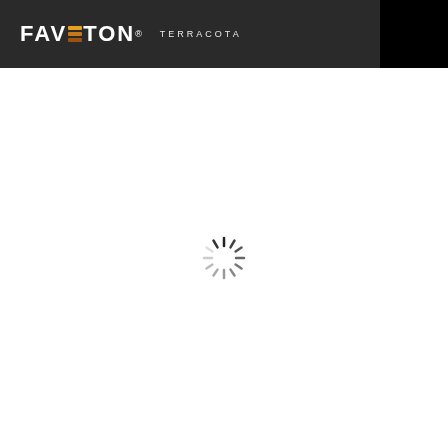[Figure (logo): FAVETON TERRACOTA logo in white text on dark background header, with orange/brown horizontal bars forming a stylized V shape in the logo, and a black square on the right side]
[Figure (other): Loading spinner icon — a circular arrangement of short radial lines in varying shades of gray and black, centered on a white background area below the header]